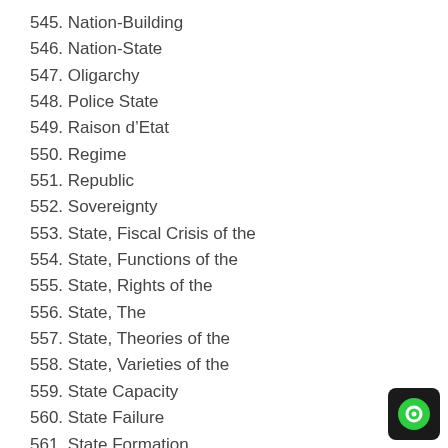545. Nation-Building
546. Nation-State
547. Oligarchy
548. Police State
549. Raison d'Etat
550. Regime
551. Republic
552. Sovereignty
553. State, Fiscal Crisis of the
554. State, Functions of the
555. State, Rights of the
556. State, The
557. State, Theories of the
558. State, Varieties of the
559. State Capacity
560. State Failure
561. State Formation
562. Stateless Nation
563. States, Size of